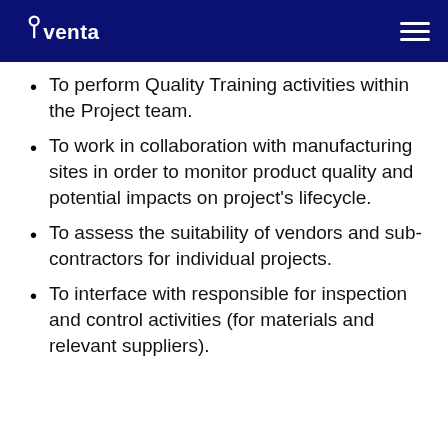Aventa
To perform Quality Training activities within the Project team.
To work in collaboration with manufacturing sites in order to monitor product quality and potential impacts on project's lifecycle.
To assess the suitability of vendors and sub-contractors for individual projects.
To interface with responsible for inspection and control activities (for materials and relevant suppliers).